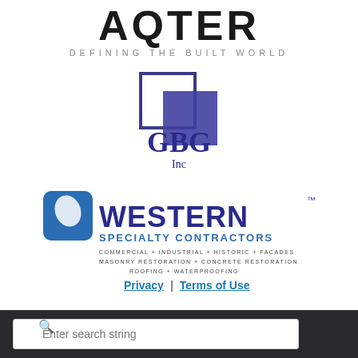[Figure (logo): AQTER logo with text 'DEFINING THE BUILT WORLD' tagline]
[Figure (logo): GBG Inc logo with two overlapping squares, one outlined and one solid blue-purple, and text GBG Inc]
[Figure (logo): Western Specialty Contractors logo with blue droplet shield icon and text: WESTERN SPECIALTY CONTRACTORS, COMMERCIAL + INDUSTRIAL + HISTORIC + FACADES, MASONRY RESTORATION + CONCRETE RESTORATION, ROOFING + WATERPROOFING]
Privacy | Terms of Use
Enter search string